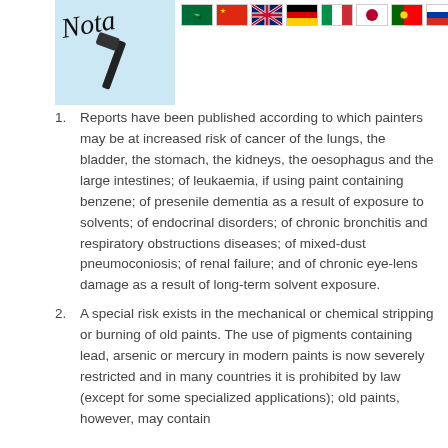[Figure (logo): Logo image with 'Nota' handwritten text and a paint roller on light blue background, alongside a row of country flag icons (Saudi Arabia, China, UK, Germany, Italy, Japan, Portugal, Russia, Serbia, Spain, Kenya)]
Reports have been published according to which painters may be at increased risk of cancer of the lungs, the bladder, the stomach, the kidneys, the oesophagus and the large intestines; of leukaemia, if using paint containing benzene; of presenile dementia as a result of exposure to solvents; of endocrinal disorders; of chronic bronchitis and respiratory obstructions diseases; of mixed-dust pneumoconiosis; of renal failure; and of chronic eye-lens damage as a result of long-term solvent exposure.
A special risk exists in the mechanical or chemical stripping or burning of old paints. The use of pigments containing lead, arsenic or mercury in modern paints is now severely restricted and in many countries it is prohibited by law (except for some specialized applications); old paints, however, may contain